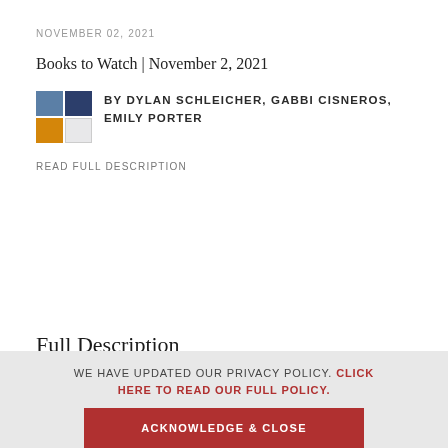NOVEMBER 02, 2021
Books to Watch | November 2, 2021
BY DYLAN SCHLEICHER, GABBI CISNEROS, EMILY PORTER
READ FULL DESCRIPTION
Full Description
WE HAVE UPDATED OUR PRIVACY POLICY. CLICK HERE TO READ OUR FULL POLICY.
ACKNOWLEDGE & CLOSE